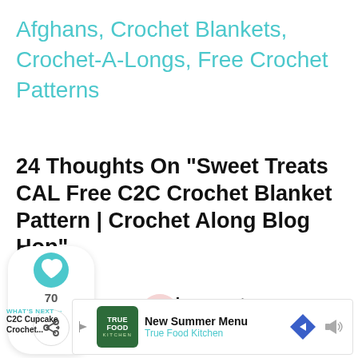Afghans, Crochet Blankets, Crochet-A-Longs, Free Crochet Patterns
24 Thoughts On “Sweet Treats CAL Free C2C Crochet Blanket Pattern | Crochet Along Blog Hop”
[Figure (infographic): Social sharing widget with heart icon (teal circle), count 70, and share icon]
helene.croteau
[Figure (photo): Small circular avatar thumbnail of a cupcake]
April 25, 2022 at 12:04 pm
[Figure (infographic): What's Next promo: WHAT'S NEXT arrow, C2C Cupcake Crochet... with cupcake thumbnail image]
[Figure (infographic): Advertisement banner: True Food Kitchen - New Summer Menu]